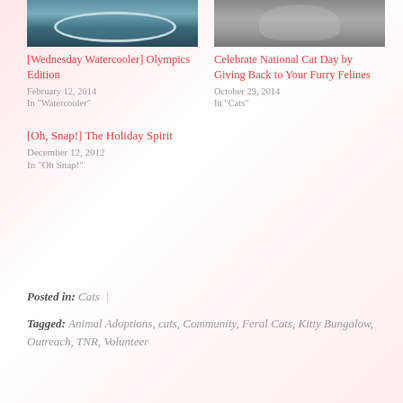[Figure (photo): Aerial view of Olympic stadium]
[Wednesday Watercooler] Olympics Edition
February 12, 2014
In "Watercooler"
[Figure (photo): Close-up of a cat face]
Celebrate National Cat Day by Giving Back to Your Furry Felines
October 29, 2014
In "Cats"
[Oh, Snap!] The Holiday Spirit
December 12, 2012
In "Oh Snap!"
Posted in: Cats |
Tagged: Animal Adoptions, cats, Community, Feral Cats, Kitty Bungalow, Outreach, TNR, Volunteer